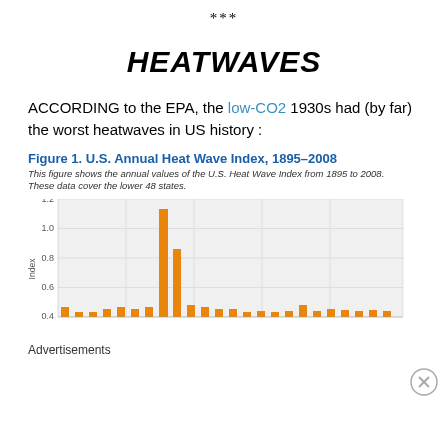***
HEATWAVES
ACCORDING to the EPA, the low-CO2 1930s had (by far) the worst heatwaves in US history :
[Figure (bar-chart): Figure 1. U.S. Annual Heat Wave Index, 1895–2008]
Advertisements